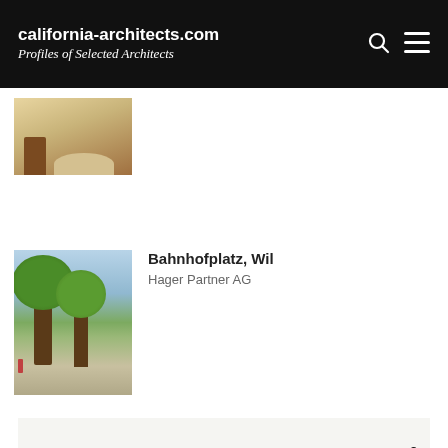california-architects.com
Profiles of Selected Architects
[Figure (photo): Partial view of an interior room with chair and patterned floor, cropped at top of page]
[Figure (photo): Outdoor plaza scene with large trees, benches, people, and buildings in background – Bahnhofplatz, Wil]
Bahnhofplatz, Wil
Hager Partner AG
[Figure (illustration): Light grey banner with large bold serif text 'Lavori' and diagonal black lines below, partial view]